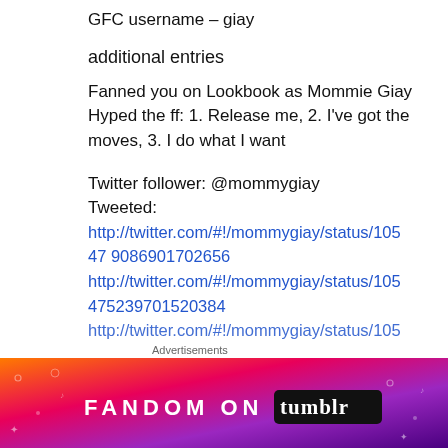GFC username – giay
additional entries
Fanned you on Lookbook as Mommie Giay
Hyped the ff: 1. Release me, 2. I've got the moves, 3. I do what I want
Twitter follower: @mommygiay
Tweeted:
http://twitter.com/#!/mommygiay/status/10547 9086901702656
http://twitter.com/#!/mommygiay/status/10547 5239701520384
http://twitter.com/#!/mommygiay/status/105
[Figure (infographic): Fandom on Tumblr advertisement banner with colorful gradient background (orange to purple) and bold white text reading FANDOM ON tumblr]
Advertisements